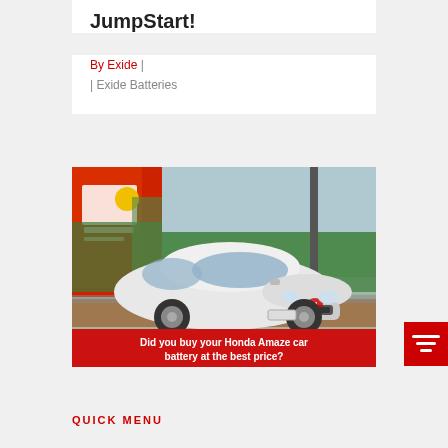JumpStart!
By Exide | | Exide Batteries
[Figure (photo): White Honda Amaze car on a road with a red background billboard and green trees behind. Red banner at bottom reads 'Did you buy your Honda Amaze car battery at the best price?']
QUICK MENU